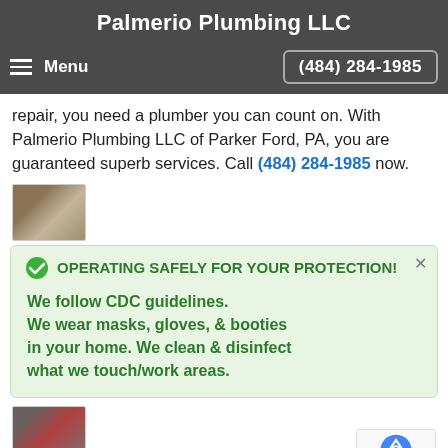Palmerio Plumbing LLC
Menu  (484) 284-1985
repair, you need a plumber you can count on. With Palmerio Plumbing LLC of Parker Ford, PA, you are guaranteed superb services. Call (484) 284-1985 now.
[Figure (photo): Small thumbnail photo of plumbing area]
OPERATING SAFELY FOR YOUR PROTECTION! We follow CDC guidelines. We wear masks, gloves, & booties in your home. We clean & disinfect what we touch/work areas.
[Figure (photo): Small thumbnail photo of furnace/plumbing equipment]
Parker Ford Furnace Plumbing
To ensure your furnace's plumbing system is in order,